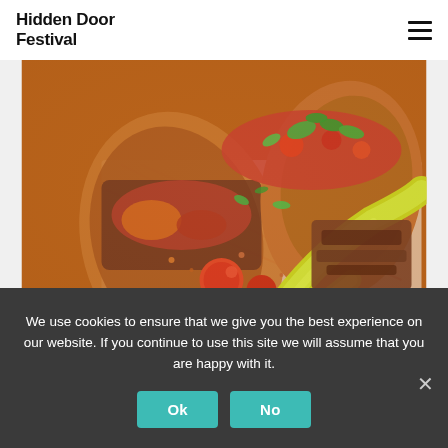Hidden Door Festival
[Figure (photo): Close-up photograph of tacos with grilled meat, yellow banana peppers, tomatoes, fresh herbs, and tortillas in a paper-lined tray]
We use cookies to ensure that we give you the best experience on our website. If you continue to use this site we will assume that you are happy with it.
Ok  No